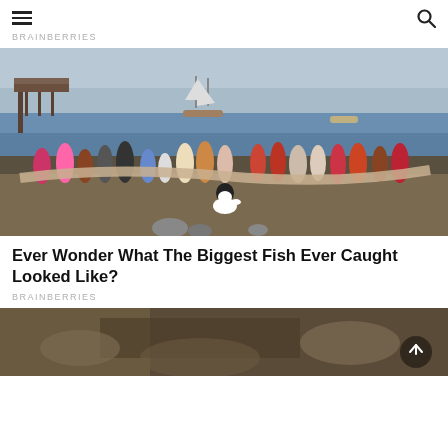☰  [search icon]
BRAINBERRIES
[Figure (photo): Group of people standing on a beach holding a very large oarfish, with a pier and sailboat visible in the background, and a white dog in the foreground.]
Ever Wonder What The Biggest Fish Ever Caught Looked Like?
BRAINBERRIES
[Figure (photo): Partial view of a rocky/sandy surface, bottom of page, partially cropped.]